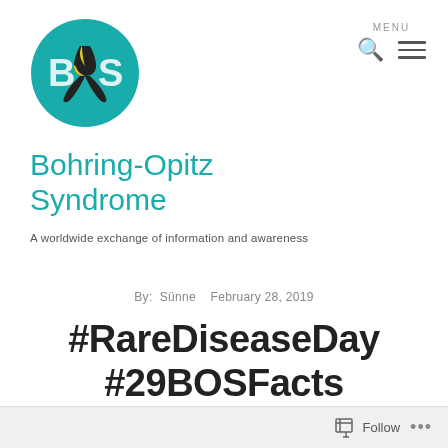[Figure (logo): Bohring-Opitz Syndrome circular logo with teal background, BOS letters and awareness ribbon in black and yellow]
Bohring-Opitz Syndrome
A worldwide exchange of information and awareness
MENU
By:  Sünne   February 28, 2019
#RareDiseaseDay #29BOSFacts
Follow ...